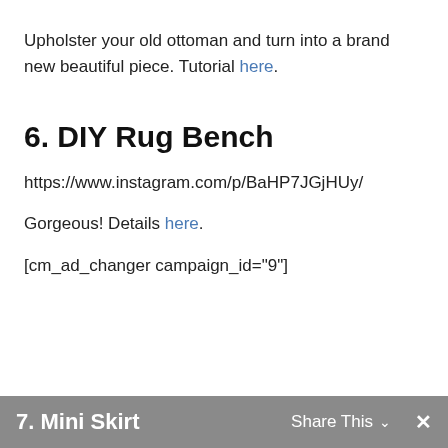Upholster your old ottoman and turn into a brand new beautiful piece. Tutorial here.
6. DIY Rug Bench
https://www.instagram.com/p/BaHP7JGjHUy/
Gorgeous! Details here.
[cm_ad_changer campaign_id="9"]
7. Mini Skirt
Share This
✕